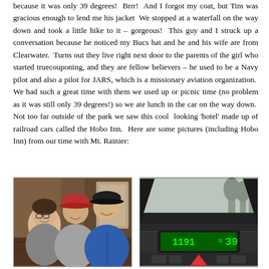because it was only 39 degrees!  Brrr!  And I forgot my coat, but Tim was gracious enough to lend me his jacket  We stopped at a waterfall on the way down and took a little hike to it – gorgeous!  This guy and I struck up a conversation because he noticed my Bucs hat and he and his wife are from Clearwater.  Turns out they live right next door to the parents of the girl who started truecouponing, and they are fellow believers – he used to be a Navy pilot and also a pilot for JARS, which is a missionary aviation organization.  We had such a great time with them we used up or picnic time (no problem as it was still only 39 degrees!) so we ate lunch in the car on the way down.  Not too far outside of the park we saw this cool  looking 'hotel' made up of railroad cars called the Hobo Inn.  Here are some pictures (including Hobo Inn) from our time with Mt. Rainier:
[Figure (photo): Selfie of three people smiling indoors, one wearing a blue jacket and baseball cap, one with glasses]
[Figure (photo): Car dashboard interior view through foggy windshield showing temperature display reading 39 degrees]